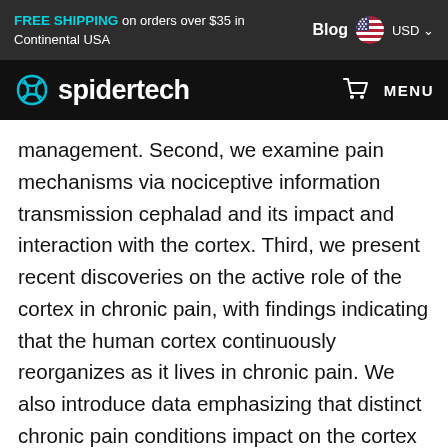FREE SHIPPING on orders over $35 in Continental USA | Blog USD
spidertech MENU
management. Second, we examine pain mechanisms via nociceptive information transmission cephalad and its impact and interaction with the cortex. Third, we present recent discoveries on the active role of the cortex in chronic pain, with findings indicating that the human cortex continuously reorganizes as it lives in chronic pain. We also introduce data emphasizing that distinct chronic pain conditions impact on the cortex in unique patterns. Fourth, animal studies